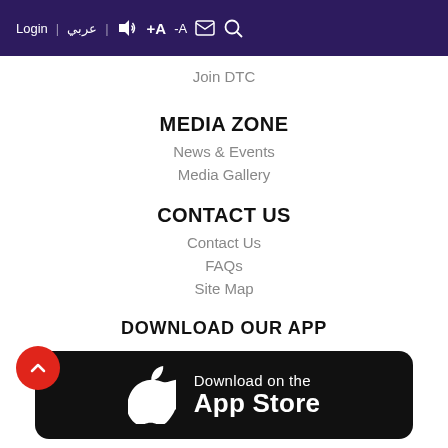Login | عربي | [audio] | +A | -A | [email] | [search]
Join DTC
MEDIA ZONE
News & Events
Media Gallery
CONTACT US
Contact Us
FAQs
Site Map
DOWNLOAD OUR APP
[Figure (screenshot): Download on the App Store banner — black rounded rectangle with Apple logo and text 'Download on the App Store']